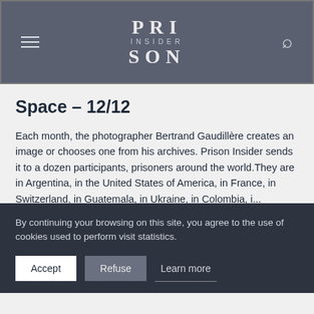PRISON INSIDER
Space – 12/12
Each month, the photographer Bertrand Gaudillère creates an image or chooses one from his archives. Prison Insider sends it to a dozen participants, prisoners around the world.They are in Argentina, in the United States of America, in France, in Switzerland, in Guatemala, in Ukraine, in Colombia, i...
READ MORE
By continuing your browsing on this site, you agree to the use of cookies used to perform visit statistics.
Accept   Refuse   Learn more